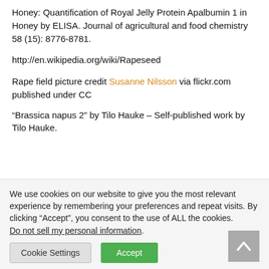Honey: Quantification of Royal Jelly Protein Apalbumin 1 in Honey by ELISA. Journal of agricultural and food chemistry 58 (15): 8776-8781.
http://en.wikipedia.org/wiki/Rapeseed
Rape field picture credit Susanne Nilsson via flickr.com published under CC
“Brassica napus 2” by Tilo Hauke – Self-published work by Tilo Hauke.
We use cookies on our website to give you the most relevant experience by remembering your preferences and repeat visits. By clicking “Accept”, you consent to the use of ALL the cookies. Do not sell my personal information.